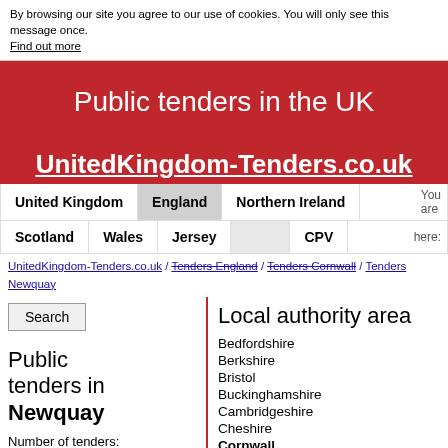By browsing our site you agree to our use of cookies. You will only see this message once. Find out more
Public tenders in the UK
UnitedKingdom-Tenders.co.uk
United Kingdom | England | Northern Ireland | Scotland | Wales | Jersey | CPV
UnitedKingdom-Tenders.co.uk / Tenders England / Tenders Cornwall / Tenders Newquay
Search
Public tenders in Newquay
Number of tenders:
8
| Title | Cornwall Published | Contracting authority | Local authority area |
| --- | --- | --- | --- |
Local authority area
Bedfordshire
Berkshire
Bristol
Buckinghamshire
Cambridgeshire
Cheshire
Cornwall
Cumbria